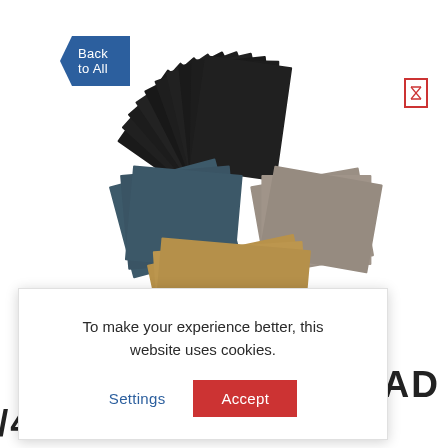Back to All
[Figure (photo): Fan arrangement of sandpaper sheets in various colors: black, dark teal/blue-grey, tan/kraft brown, and grey/beige laid out in a spread pattern on a white background]
To make your experience better, this website uses cookies.
Settings
Accept
E PAD
/496 GREEN MED